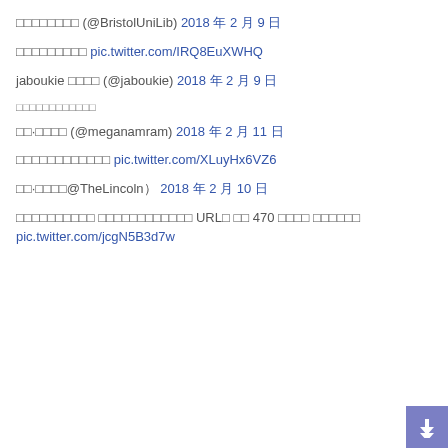bristol (@BristolUniLib) 2018年2月9日
ありがとうございます pic.twitter.com/IRQ8EuXWHQ
jaboukie にも (@jaboukie) 2018年2月9日
まったくもってその通り
메.가나람 (@meganamram) 2018年2月11日
ありがとうございました pic.twitter.com/XLuyHx6VZ6
메.가나@TheLincoln） 2018年2月10日
ありがとうございました ありがとうございました URLの 의 470 대단한 대단한대단한 pic.twitter.com/jcgN5B3d7w